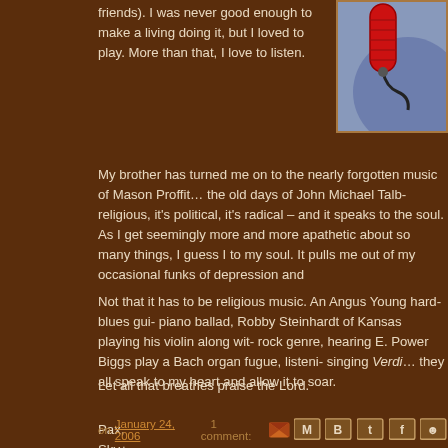friends). I was never good enough to make a living doing it, but I loved to play. More than that, I love to listen.
[Figure (photo): Photo of a red microphone against a blurred background]
My brother has turned me on to the nearly forgotten music of Mason Proffit… the old days of John Michael Talb- religious, it's political, it's radical – and it speaks to the soul. As I get seemingly more and more apathetic about so many things, I guess I to my soul. It pulls me out of my occasional funks of depression and
Not that it has to be religious music. An Angus Young hard-blues gui- piano ballad, Robby Steinhardt of Kansas playing his violin along wit- rock genre, hearing E. Power Biggs play a Bach organ fugue, listeni- singing Verdi… they all speak to my heart and allow it to soar.
Let all that breathes praise the Lord.
Pax,
Sky+
on January 24, 2006   1 comment: